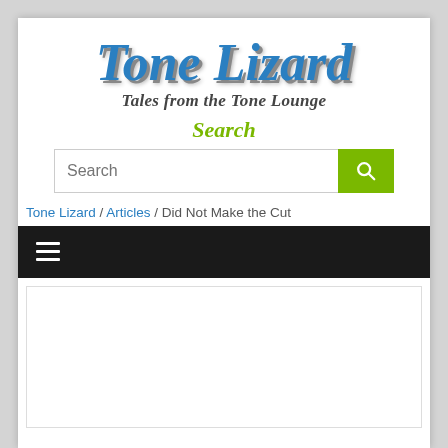Tone Lizard
Tales from the Tone Lounge
Search
Search
Tone Lizard / Articles / Did Not Make the Cut
[Figure (screenshot): Navigation bar with hamburger menu icon]
[Figure (screenshot): White content area below navigation]